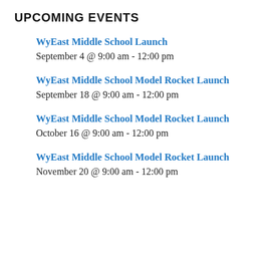UPCOMING EVENTS
WyEast Middle School Launch
September 4 @ 9:00 am - 12:00 pm
WyEast Middle School Model Rocket Launch
September 18 @ 9:00 am - 12:00 pm
WyEast Middle School Model Rocket Launch
October 16 @ 9:00 am - 12:00 pm
WyEast Middle School Model Rocket Launch
November 20 @ 9:00 am - 12:00 pm